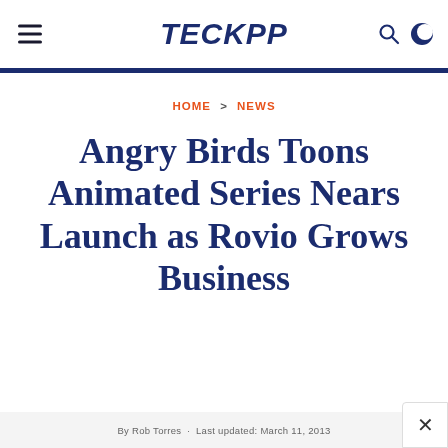TECKPP
HOME > NEWS
Angry Birds Toons Animated Series Nears Launch as Rovio Grows Business
By Rob Torres · Last updated: March 11, 2013